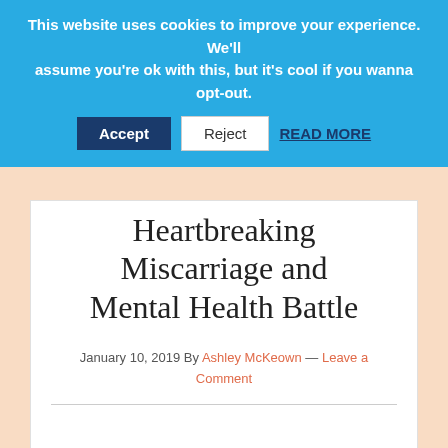This website uses cookies to improve your experience. We'll assume you're ok with this, but it's cool if you wanna opt-out.
Accept  Reject  READ MORE
Heartbreaking Miscarriage and Mental Health Battle
January 10, 2019 By Ashley McKeown — Leave a Comment